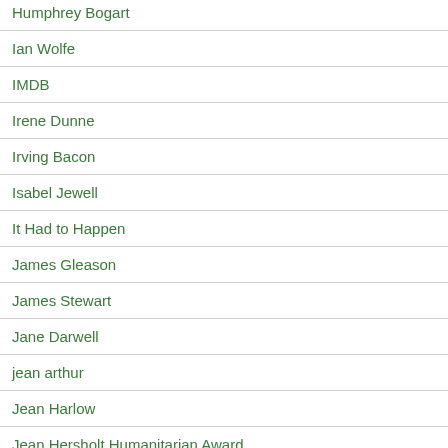Humphrey Bogart
Ian Wolfe
IMDB
Irene Dunne
Irving Bacon
Isabel Jewell
It Had to Happen
James Gleason
James Stewart
Jane Darwell
jean arthur
Jean Harlow
Jean Hersholt Humanitarian Award